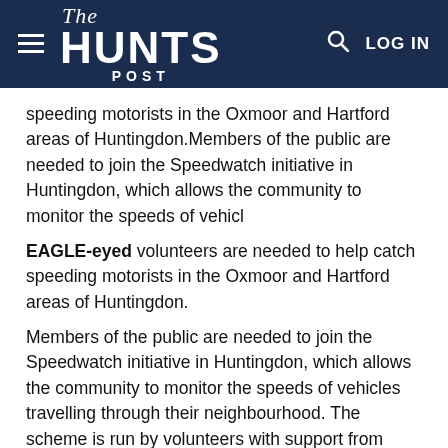The HUNTS POST — LOG IN
speeding motorists in the Oxmoor and Hartford areas of Huntingdon.Members of the public are needed to join the Speedwatch initiative in Huntingdon, which allows the community to monitor the speeds of vehicl
EAGLE-eyed volunteers are needed to help catch speeding motorists in the Oxmoor and Hartford areas of Huntingdon.
Members of the public are needed to join the Speedwatch initiative in Huntingdon, which allows the community to monitor the speeds of vehicles travelling through their neighbourhood. The scheme is run by volunteers with support from Cambridgeshire police and aims to educate motorists and record trends in speeding.